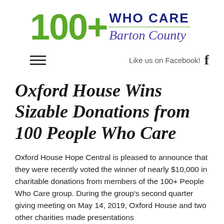[Figure (logo): 100+ Who Care Barton County logo with green 100+ text and dark blue/purple WHO CARE and Barton County text]
Like us on Facebook!
Oxford House Wins Sizable Donations from 100 People Who Care
Oxford House Hope Central is pleased to announce that they were recently voted the winner of nearly $10,000 in charitable donations from members of the 100+ People Who Care group. During the group's second quarter giving meeting on May 14, 2019, Oxford House and two other charities made presentations